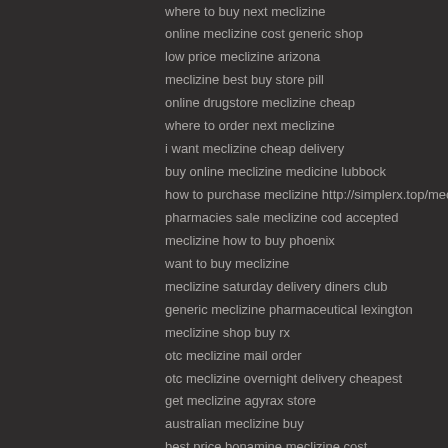where to buy next meclizine
online meclizine cost generic shop
low price meclizine arizona
meclizine best buy store pill
online drugstore meclizine cheap
where to order next meclizine
i want meclizine cheap delivery
buy online meclizine medicine lubbock
how to purchase meclizine http://simplerx.top/meclizine
pharmacies sale meclizine cod accepted
meclizine how to buy phoenix
want to buy meclizine
meclizine saturday delivery diners club
generic meclizine pharmaceutical lexington
meclizine shop buy rx
otc meclizine mail order
otc meclizine overnight delivery cheapest
get meclizine agyrax store
australian meclizine buy
best price bonamine meclizine cost
price meclizine hfa